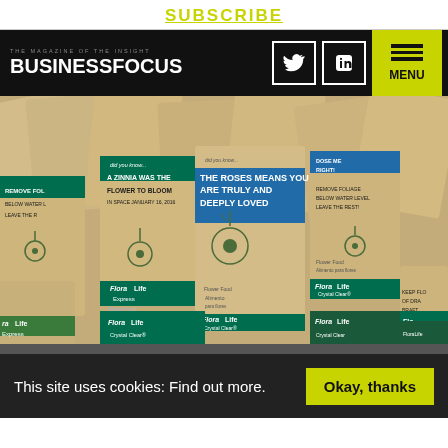SUBSCRIBE
[Figure (logo): Business Focus magazine logo with Twitter and LinkedIn social icons and hamburger menu button on black navigation bar]
[Figure (photo): FloraLife flower food product packets - FloraLife Express and FloraLife Crystal Clear seed/flower food sachets spread out, in kraft brown paper with green and teal branding, featuring text about roses and flower care instructions]
This site uses cookies: Find out more.
Okay, thanks